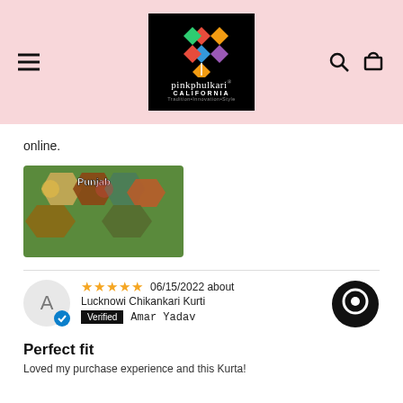pinkphulkari CALIFORNIA — Tradition•Innovation•Style — navigation header
online.
[Figure (photo): Punjab collage image with hexagonal photos showing Punjabi culture, food, people, and landmarks with 'Punjab' text overlay]
★★★★★ 06/15/2022 about Lucknowi Chikankari Kurti  Verified  Amar Yadav
Perfect fit
Loved my purchase experience and this Kurta!